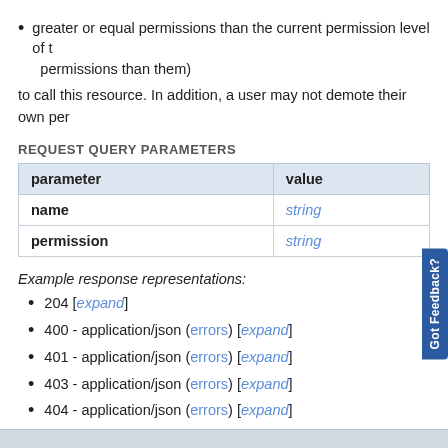greater or equal permissions than the current permission level of them (i.e., you may not give someone more permissions than them)
to call this resource. In addition, a user may not demote their own perm
REQUEST QUERY PARAMETERS
| parameter | value |
| --- | --- |
| name | string |
| permission | string |
Example response representations:
204 [expand]
400 - application/json (errors) [expand]
401 - application/json (errors) [expand]
403 - application/json (errors) [expand]
404 - application/json (errors) [expand]
409 - application/json (errors) [expand]